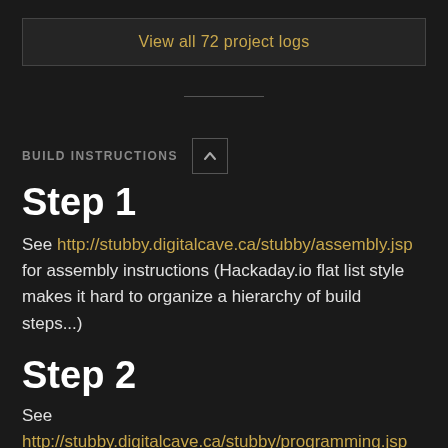View all 72 project logs
BUILD INSTRUCTIONS
Step 1
See http://stubby.digitalcave.ca/stubby/assembly.jsp for assembly instructions (Hackaday.io flat list style makes it hard to organize a hierarchy of build steps...)
Step 2
See http://stubby.digitalcave.ca/stubby/programming.jsp